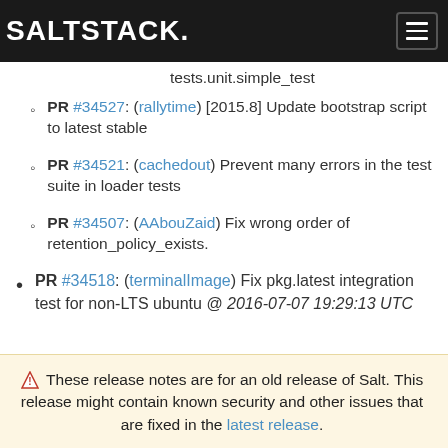SALTSTACK.
tests.unit.simple_test
PR #34527: (rallytime) [2015.8] Update bootstrap script to latest stable
PR #34521: (cachedout) Prevent many errors in the test suite in loader tests
PR #34507: (AAbouZaid) Fix wrong order of retention_policy_exists.
PR #34518: (terminalImage) Fix pkg.latest integration test for non-LTS ubuntu @ 2016-07-07 19:29:13 UTC
⚠ These release notes are for an old release of Salt. This release might contain known security and other issues that are fixed in the latest release.